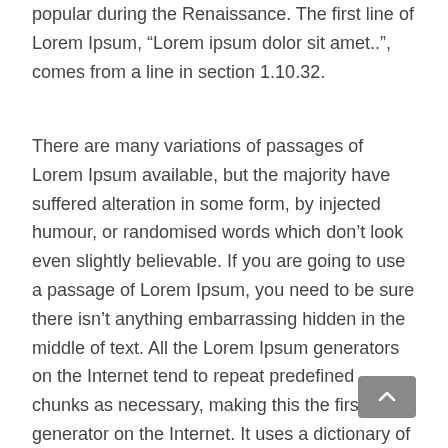popular during the Renaissance. The first line of Lorem Ipsum, “Lorem ipsum dolor sit amet..”, comes from a line in section 1.10.32.
There are many variations of passages of Lorem Ipsum available, but the majority have suffered alteration in some form, by injected humour, or randomised words which don’t look even slightly believable. If you are going to use a passage of Lorem Ipsum, you need to be sure there isn’t anything embarrassing hidden in the middle of text. All the Lorem Ipsum generators on the Internet tend to repeat predefined chunks as necessary, making this the first true generator on the Internet. It uses a dictionary of over 200 Latin words, combined with a handful of model sentence structures, to generate Lorem Ipsum which looks reasonable. The generated Lorem